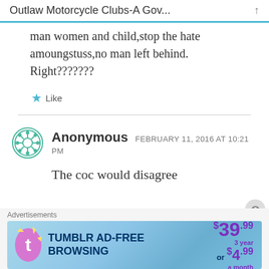Outlaw Motorcycle Clubs-A Gov...
man women and child,stop the hate amoungstuss,no man left behind. Right???????
★ Like
Anonymous FEBRUARY 11, 2016 AT 10:21 PM
The coc would disagree
Advertisements
[Figure (other): Tumblr Ad-Free Browsing advertisement banner showing $39.99/3 year or $4.99/a month pricing]